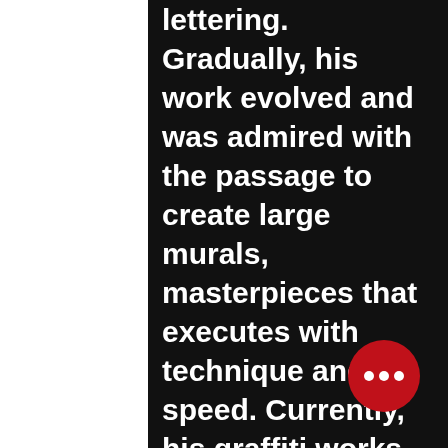lettering. Gradually, his work evolved and was admired with the passage to create large murals, masterpieces that executes with technique and speed. Currently, his graffiti works are mostly private and public commissions, or interventions of a social nature for which he makes willingly and whenever requested (social quarters, associations and schools) the interventional and social side that he likes to maintain. Currently he mainly